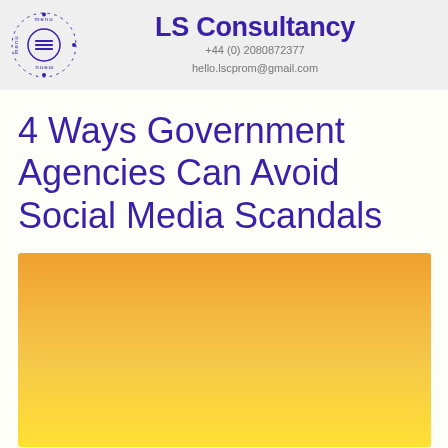LS Consultancy
+44 (0) 2080872377
hello.lscprom@gmail.com
4 Ways Government Agencies Can Avoid Social Media Scandals
[Figure (illustration): Orange to yellow gradient decorative background image, transitioning from orange at top to bright yellow at bottom.]